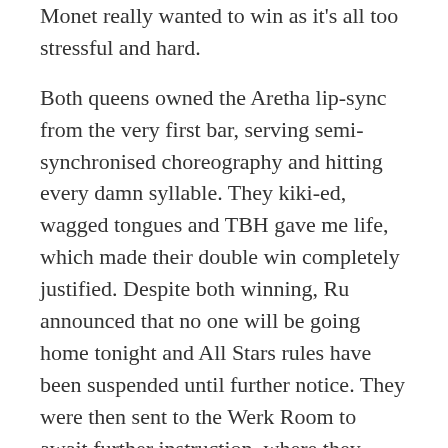Monet really wanted to win as it's all too stressful and hard.
Both queens owned the Aretha lip-sync from the very first bar, serving semi-synchronised choreography and hitting every damn syllable. They kiki-ed, wagged tongues and TBH gave me life, which made their double win completely justified. Despite both winning, Ru announced that no one will be going home tonight and All Stars rules have been suspended until further notice. They were then sent to the Werk Room to await further instruction, where they found a message from Ru announcing they will be lip syncing for their life, life, life, life … AND THEN Lady Bunny appeared behind the mirror to point out that Jasmine, Farrah, Gia and Latrice are back, back, back again and those four life-s feel very ominous.